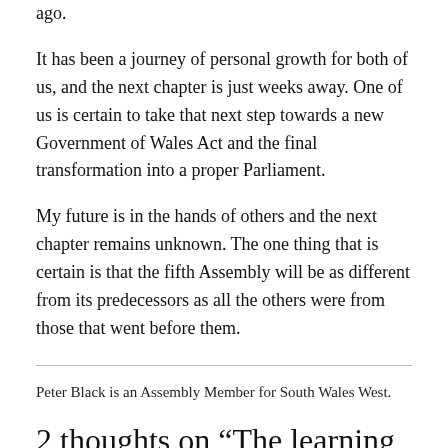ago.
It has been a journey of personal growth for both of us, and the next chapter is just weeks away. One of us is certain to take that next step towards a new Government of Wales Act and the final transformation into a proper Parliament.
My future is in the hands of others and the next chapter remains unknown. The one thing that is certain is that the fifth Assembly will be as different from its predecessors as all the others were from those that went before them.
Peter Black is an Assembly Member for South Wales West.
2 thoughts on “The learning curve